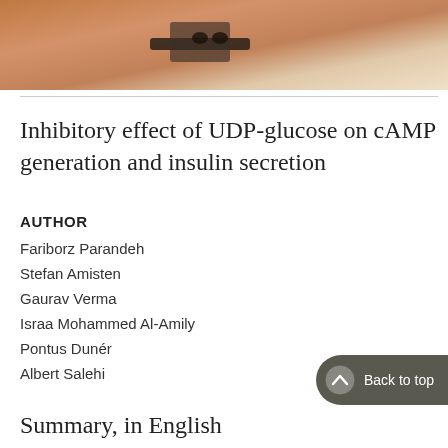[Figure (photo): Close-up photograph of what appears to be a medical or biological specimen with a strap or clamp visible]
Inhibitory effect of UDP-glucose on cAMP generation and insulin secretion
AUTHOR
Fariborz Parandeh
Stefan Amisten
Gaurav Verma
Israa Mohammed Al-Amily
Pontus Dunér
Albert Salehi
Summary, in English